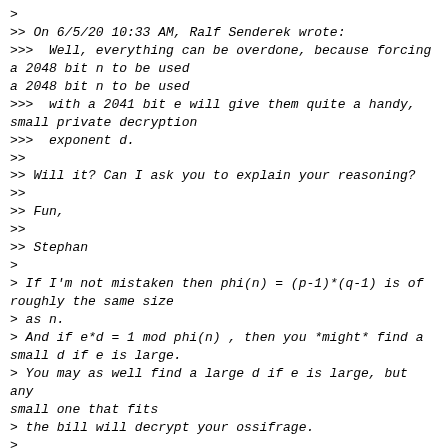>
>> On 6/5/20 10:33 AM, Ralf Senderek wrote:
>>>  Well, everything can be overdone, because forcing a 2048 bit n to be used
>>>  with a 2041 bit e will give them quite a handy, small private decryption
>>>  exponent d.
>>
>> Will it? Can I ask you to explain your reasoning?
>>
>> Fun,
>>
>> Stephan
>
> If I'm not mistaken then phi(n) = (p-1)*(q-1) is of roughly the same size
> as n.
> And if e*d = 1 mod phi(n) , then you *might* find a small d if e is large.
> You may as well find a large d if e is large, but any small one that fits
> the bill will decrypt your ossifrage.
>
>    --ralf
>
> PS: doesn't convince you?
Small secret exponents (less than 25% of modulus length) are known to be
insecure since 1989.